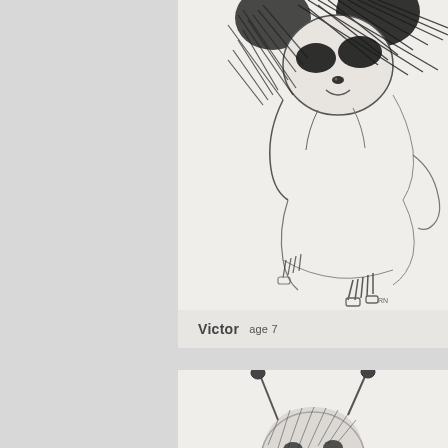[Figure (illustration): Child's pencil drawing of a panda bear, heavily shaded with cross-hatching. The panda face has dark eye patches and a round head. The body is loosely sketched in outline with minimal detail in the lower body. Some small scribbled marks near the bottom represent feet or ground.]
Victor  age 7
[Figure (illustration): Child's pencil drawing (partially visible), showing the top of a round creature's head with what appears to be antennae or ears, suggesting another animal drawing similar in style to the one above.]